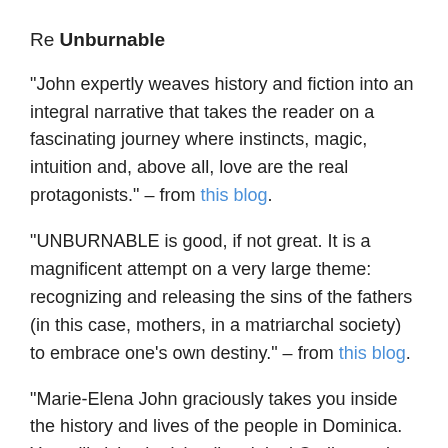Re Unburnable
“John expertly weaves history and fiction into an integral narrative that takes the reader on a fascinating journey where instincts, magic, intuition and, above all, love are the real protagonists.” – from this blog.
“UNBURNABLE is good, if not great. It is a magnificent attempt on a very large theme: recognizing and releasing the sins of the fathers (in this case, mothers, in a matriarchal society) to embrace one’s own destiny.” – from this blog.
“Marie-Elena John graciously takes you inside the history and lives of the people in Dominica. You will visist the island’s original Carib people, who discovered Columbus when he arrived in 1493. Yes, be careful because you may